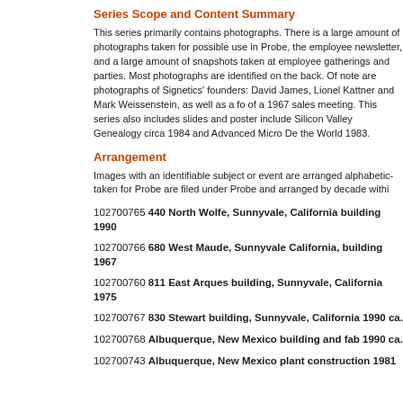Series Scope and Content Summary
This series primarily contains photographs. There is a large amount of photographs taken for possible use in Probe, the employee newsletter, and a large amount of snapshots taken at employee gatherings and parties. Most photographs are identified on the back. Of note are photographs of Signetics' founders: David James, Lionel Kattner and Mark Weissenstein, as well as a folder of a 1967 sales meeting. This series also includes slides and posters. Posters include Silicon Valley Genealogy circa 1984 and Advanced Micro Devices and the World 1983.
Arrangement
Images with an identifiable subject or event are arranged alphabetically. Images taken for Probe are filed under Probe and arranged by decade within.
102700765 440 North Wolfe, Sunnyvale, California building 1990
102700766 680 West Maude, Sunnyvale California, building 1967
102700760 811 East Arques building, Sunnyvale, California 1975
102700767 830 Stewart building, Sunnyvale, California 1990 ca.
102700768 Albuquerque, New Mexico building and fab 1990 ca.
102700743 Albuquerque, New Mexico plant construction 1981